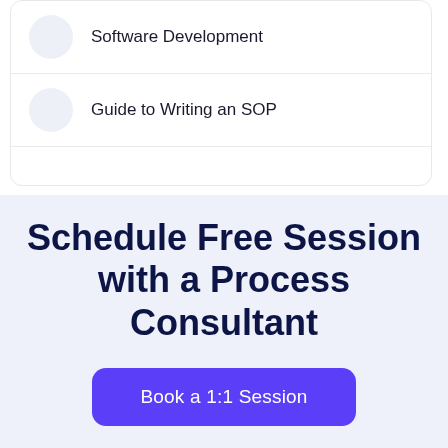Software Development
Guide to Writing an SOP
Schedule Free Session with a Process Consultant
Book a 1:1 Session